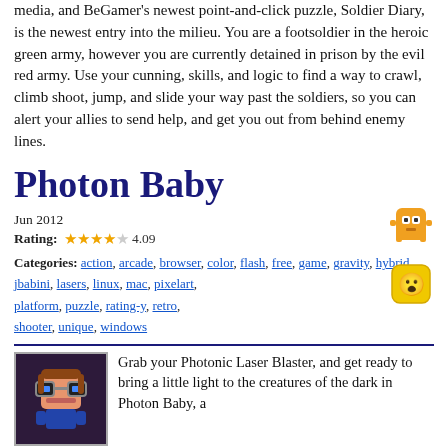media, and BeGamer's newest point-and-click puzzle, Soldier Diary, is the newest entry into the milieu. You are a footsoldier in the heroic green army, however you are currently detained in prison by the evil red army. Use your cunning, skills, and logic to find a way to crawl, climb shoot, jump, and slide your way past the soldiers, so you can alert your allies to send help, and get you out from behind enemy lines.
Photon Baby
Jun 2012
Rating: 4.09
Categories: action, arcade, browser, color, flash, free, game, gravity, hybrid, jbabini, lasers, linux, mac, pixelart, platform, puzzle, rating-y, retro, shooter, unique, windows
Grab your Photonic Laser Blaster, and get ready to bring a little light to the creatures of the dark in Photon Baby, a genre-busting platformer by Jeremias Babini. Drawing inspiration from all manner of genres, Photon Baby is a unique little creation, with